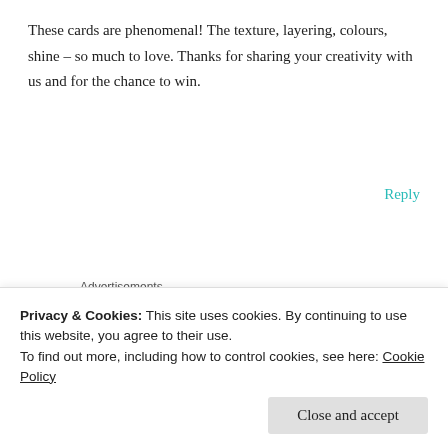These cards are phenomenal! The texture, layering, colours, shine – so much to love. Thanks for sharing your creativity with us and for the chance to win.
Reply
Advertisements
[Figure (illustration): Purple and white geometric diamond/square pattern avatar icon for user Pat Bethke]
Pat Bethke
on July 26, 2021 at 7:18 am
Privacy & Cookies: This site uses cookies. By continuing to use this website, you agree to their use.
To find out more, including how to control cookies, see here: Cookie Policy
Close and accept